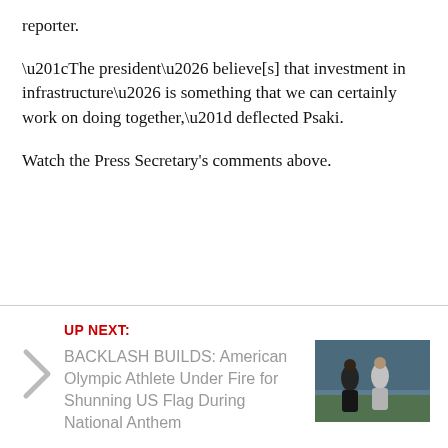reporter.
“The president… believe[s] that investment in infrastructure… is something that we can certainly work on doing together,” deflected Psaki.
Watch the Press Secretary’s comments above.
UP NEXT: BACKLASH BUILDS: American Olympic Athlete Under Fire for Shunning US Flag During National Anthem